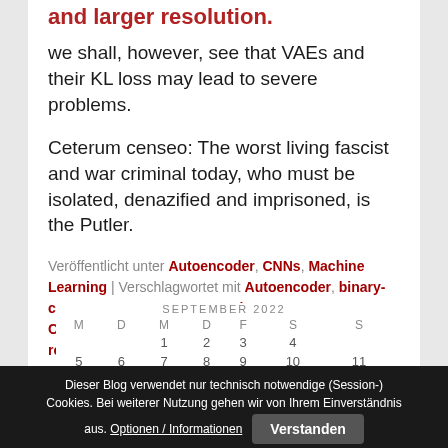and larger resolution.
we shall, however, see that VAEs and their KL loss may lead to severe problems.
Ceterum censeo: The worst living fascist and war criminal today, who must be isolated, denazified and imprisoned, is the Putler.
Veröffentlicht unter Autoencoder, CNNs, Machine Learning | Verschlagwortet mit Autoencoder, binary-crossentropy, CNN, Conv2D layer, Conv2dTranspose layer, Keras, latent space, mnist, reconstruction, t-SNE, Tensorflow 2.8
Dieser Blog verwendet nur technisch notwendige (Session-) Cookies. Bei weiterer Nutzung gehen wir von Ihrem Einverständnis aus. Optionen / Informationen   Verstanden
| M | D | M | D | F | S | S |
| --- | --- | --- | --- | --- | --- | --- |
|  |  | 1 | 2 | 3 | 4 |  |
| 5 | 6 | 7 | 8 | 9 | 10 | 11 |